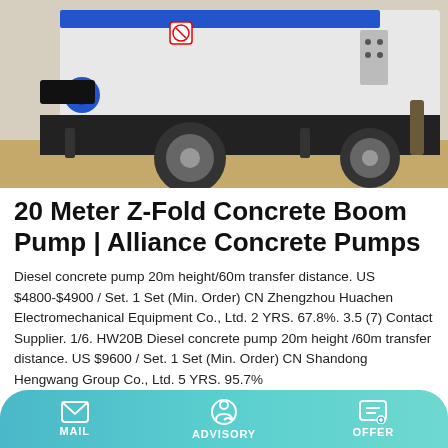[Figure (photo): Concrete boom pump truck vehicle on a construction site, white and blue colored machine with large tires and mechanical arms visible]
20 Meter Z-Fold Concrete Boom Pump | Alliance Concrete Pumps
Diesel concrete pump 20m height/60m transfer distance. US $4800-$4900 / Set. 1 Set (Min. Order) CN Zhengzhou Huachen Electromechanical Equipment Co., Ltd. 2 YRS. 67.8%. 3.5 (7) Contact Supplier. 1/6. HW20B Diesel concrete pump 20m height /60m transfer distance. US $9600 / Set. 1 Set (Min. Order) CN Shandong Hengwang Group Co., Ltd. 5 YRS. 95.7%
Learn More
MAIL  ADVISORY  OFFER